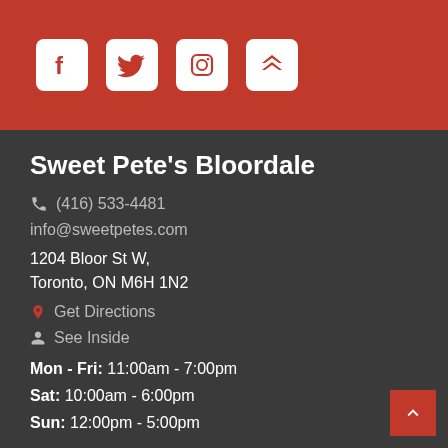[Figure (logo): Social media icons: Facebook, Twitter, Instagram, and a chevron/rating icon on a red background header bar]
Sweet Pete's Bloordale
(416) 533-4481
info@sweetpetes.com
1204 Bloor St W,
Toronto, ON M6H 1N2
Get Directions
See Inside
Mon - Fri: 11:00am - 7:00pm
Sat: 10:00am - 6:00pm
Sun: 12:00pm - 5:00pm